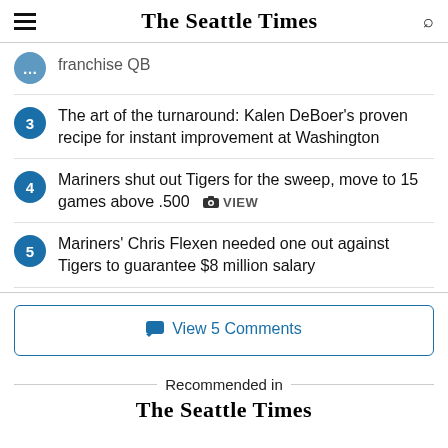The Seattle Times
franchise QB
3 The art of the turnaround: Kalen DeBoer's proven recipe for instant improvement at Washington
4 Mariners shut out Tigers for the sweep, move to 15 games above .500  VIEW
5 Mariners' Chris Flexen needed one out against Tigers to guarantee $8 million salary
View 5 Comments
Recommended in
The Seattle Times